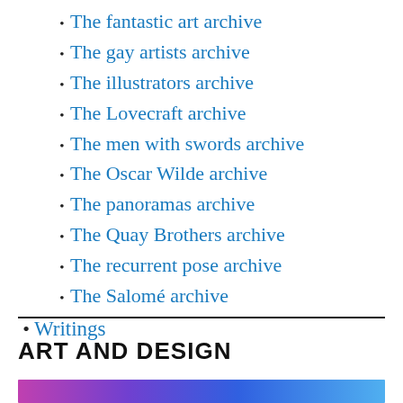The fantastic art archive
The gay artists archive
The illustrators archive
The Lovecraft archive
The men with swords archive
The Oscar Wilde archive
The panoramas archive
The Quay Brothers archive
The recurrent pose archive
The Salomé archive
Writings
ART AND DESIGN
[Figure (photo): Colorful abstract image at bottom of page]